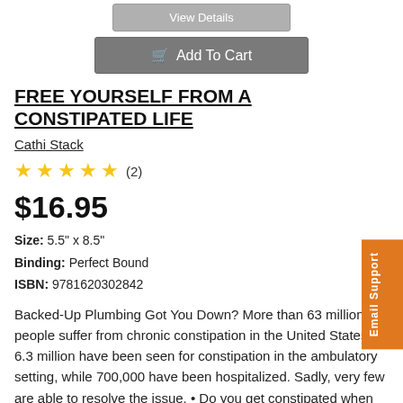[Figure (screenshot): View Details button (gray)]
[Figure (screenshot): Add To Cart button (dark gray with cart icon)]
FREE YOURSELF FROM A CONSTIPATED LIFE
Cathi Stack
★★★★★ (2)
$16.95
Size: 5.5" x 8.5"
Binding: Perfect Bound
ISBN: 9781620302842
Backed-Up Plumbing Got You Down? More than 63 million people suffer from chronic constipation in the United States. 6.3 million have been seen for constipation in the ambulatory setting, while 700,000 have been hospitalized. Sadly, very few are able to resolve the issue. • Do you get constipated when you travel? • Can you go 2-3 days (or more!) without a bowel movement? • Have you tried many supplements, only to find they work for a short while—then don't? • Do you grind your teeth; have dark circles under your eyes; or a belly that frequently aches? • Do bunny pellets look familiar to you? • Do you suffer from constipation, bloating, or from...